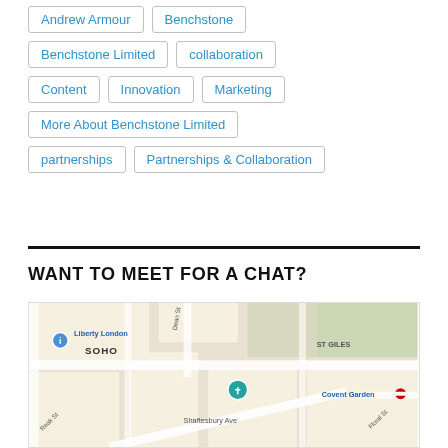Andrew Armour
Benchstone
Benchstone Limited
collaboration
Content
Innovation
Marketing
More About Benchstone Limited
partnerships
Partnerships & Collaboration
WANT TO MEET FOR A CHAT?
[Figure (map): Google Maps screenshot showing Soho, London area with Liberty London, Shaftesbury Ave, Covent Garden, Dean St, ST GILES labels visible]